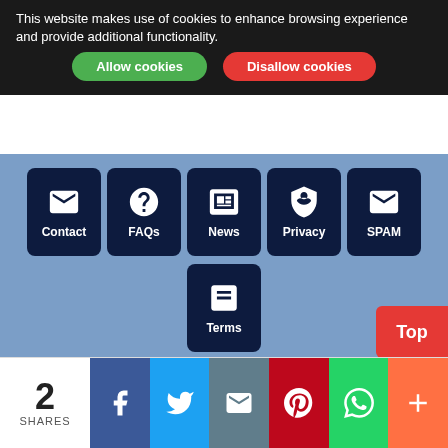This website makes use of cookies to enhance browsing experience and provide additional functionality.
Allow cookies | Disallow cookies
[Figure (screenshot): Navigation menu with icons for Contact, FAQs, News, Privacy, SPAM, and Terms on a blue background]
[Figure (logo): CoinPayments logo with text: Multiple Cryptocurrencies Accepted Via CoinPayments]
Top
2 SHARES
[Figure (infographic): Social share bar with Facebook, Twitter, Email, Pinterest, WhatsApp, and More buttons]